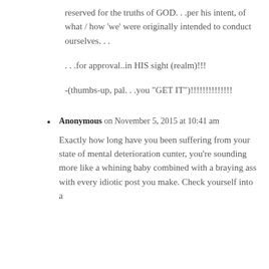reserved for the truths of GOD. . .per his intent, of what / how 'we' were originally intended to conduct ourselves. . .
. . .for approval..in HIS sight (realm)!!!
-(thumbs-up, pal. . .you "GET IT")!!!!!!!!!!!!!!
Anonymous on November 5, 2015 at 10:41 am
Exactly how long have you been suffering from your state of mental deterioration cunter, you're sounding more like a whining baby combined with a braying ass with every idiotic post you make. Check yourself into a